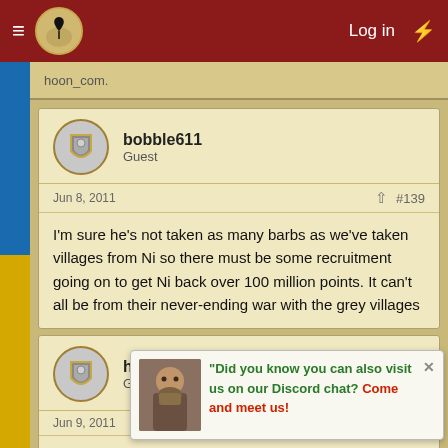Log in
hoon_com.
bobble611
Guest
Jun 8, 2011  #139
I'm sure he's not taken as many barbs as we've taken villages from Ni so there must be some recruitment going on to get Ni back over 100 million points. It can't all be from their never-ending war with the grey villages
harbinger297
Guest
Jun 9, 2011
World 43's losing side in was are .net's best at barb munching to run from a war. We are only saved by the fact that it's a small world so they can only run so far before we
Did you know you can also visit us on our Discord chat? Come and meet us!